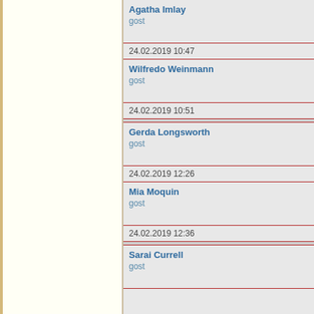| Name/Role | Timestamp |
| --- | --- |
| Agatha Imlay
gost | 24.02.2019 10:47 |
| Wilfredo Weinmann
gost | 24.02.2019 10:51 |
| Gerda Longsworth
gost | 24.02.2019 12:26 |
| Mia Moquin
gost | 24.02.2019 12:36 |
| Sarai Currell
gost |  |